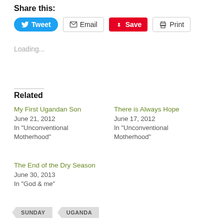Share this:
[Figure (other): Share buttons: Tweet (Twitter/blue), Email (outline), Save (Pinterest/red), Print (outline)]
Loading...
Related
My First Ugandan Son
June 21, 2012
In "Unconventional Motherhood"
There is Always Hope
June 17, 2012
In "Unconventional Motherhood"
The End of the Dry Season
June 30, 2013
In "God & me"
SUNDAY
UGANDA